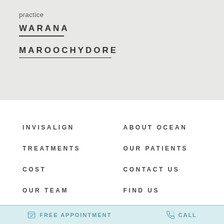practice
WARANA
MAROOCHYDORE
INVISALIGN
ABOUT OCEAN
TREATMENTS
OUR PATIENTS
COST
CONTACT US
OUR TEAM
FIND US
FREE APPOINTMENT   CALL